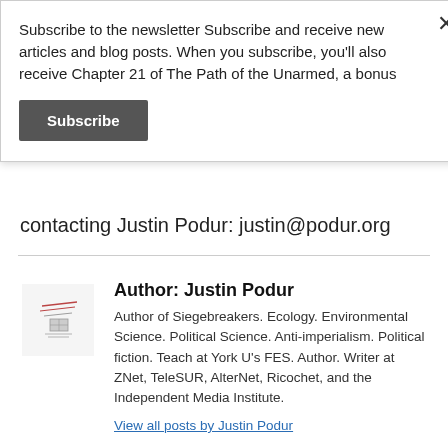Subscribe to the newsletter Subscribe and receive new articles and blog posts. When you subscribe, you'll also receive Chapter 21 of The Path of the Unarmed, a bonus
Subscribe
contacting Justin Podur: justin@podur.org
Author: Justin Podur
Author of Siegebreakers. Ecology. Environmental Science. Political Science. Anti-imperialism. Political fiction. Teach at York U's FES. Author. Writer at ZNet, TeleSUR, AlterNet, Ricochet, and the Independent Media Institute.
View all posts by Justin Podur